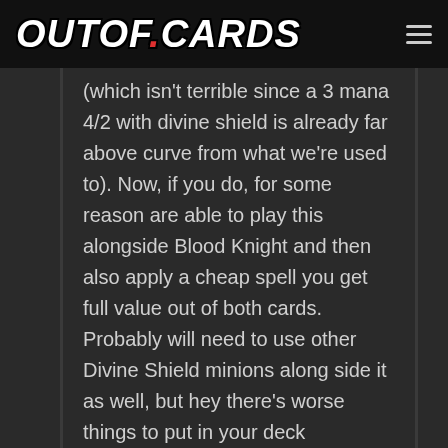OUTOF.CARDS
(which isn't terrible since a 3 mana 4/2 with divine shield is already far above curve from what we're used to). Now, if you do, for some reason are able to play this alongside Blood Knight and then also apply a cheap spell you get full value out of both cards. Probably will need to use other Divine Shield minions along side it as well, but hey there's worse things to put in your deck